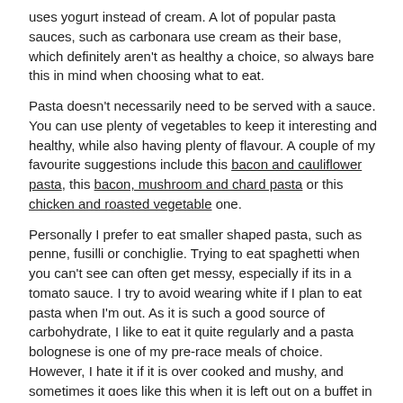uses yogurt instead of cream. A lot of popular pasta sauces, such as carbonara use cream as their base, which definitely aren't as healthy a choice, so always bare this in mind when choosing what to eat.
Pasta doesn't necessarily need to be served with a sauce. You can use plenty of vegetables to keep it interesting and healthy, while also having plenty of flavour. A couple of my favourite suggestions include this bacon and cauliflower pasta, this bacon, mushroom and chard pasta or this chicken and roasted vegetable one.
Personally I prefer to eat smaller shaped pasta, such as penne, fusilli or conchiglie. Trying to eat spaghetti when you can't see can often get messy, especially if its in a tomato sauce. I try to avoid wearing white if I plan to eat pasta when I'm out. As it is such a good source of carbohydrate, I like to eat it quite regularly and a pasta bolognese is one of my pre-race meals of choice. However, I hate it if it is over cooked and mushy, and sometimes it goes like this when it is left out on a buffet in hotels, so if this is the case I will avoid it. I also much prefer it when it is freshly cooked, like in a proper Italian restaurant and I plan to learn to make my own at some point, but good pasta needs to be delicate and thats not something I'm usually known for being. If you have any pasta based recipes or stories you would like to share, then please leave a comment below.
Thank you for reading and speak soon.